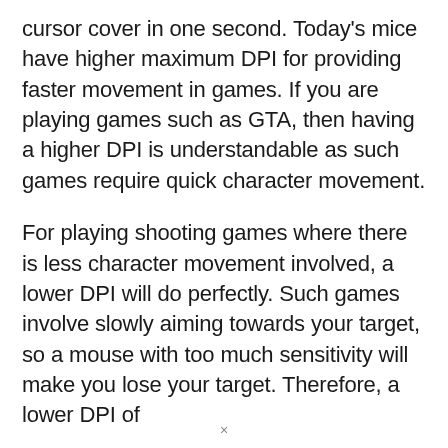cursor cover in one second. Today's mice have higher maximum DPI for providing faster movement in games. If you are playing games such as GTA, then having a higher DPI is understandable as such games require quick character movement.
For playing shooting games where there is less character movement involved, a lower DPI will do perfectly. Such games involve slowly aiming towards your target, so a mouse with too much sensitivity will make you lose your target. Therefore, a lower DPI of